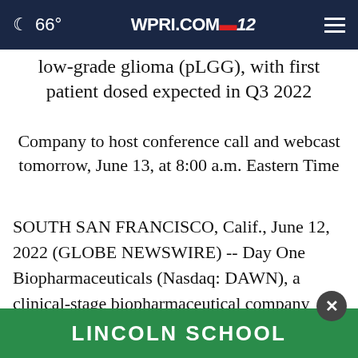66° WPRI.COM 12
low-grade glioma (pLGG), with first patient dosed expected in Q3 2022
Company to host conference call and webcast tomorrow, June 13, at 8:00 a.m. Eastern Time
SOUTH SAN FRANCISCO, Calif., June 12, 2022 (GLOBE NEWSWIRE) -- Day One Biopharmaceuticals (Nasdaq: DAWN), a clinical-stage biopharmaceutical company dedicated to developing and commercializing targeted thera
[Figure (other): LINCOLN SCHOOL advertisement banner at bottom of page in green with white text]